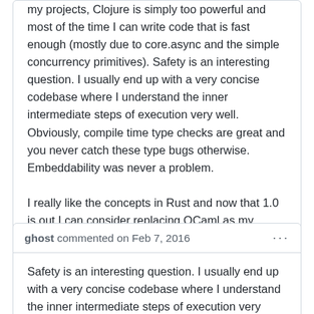my projects, Clojure is simply too powerful and most of the time I can write code that is fast enough (mostly due to core.async and the simple concurrency primitives). Safety is an interesting question. I usually end up with a very concise codebase where I understand the inner intermediate steps of execution very well. Obviously, compile time type checks are great and you never catch these type bugs otherwise. Embeddability was never a problem.

I really like the concepts in Rust and now that 1.0 is out I can consider replacing OCaml as my default typed language of choice.
ghost commented on Feb 7, 2016
Safety is an interesting question. I usually end up with a very concise codebase where I understand the inner intermediate steps of execution very well. Obviously, compile time type checks are great and you never catch these type bugs otherwise. Embeddability was never a problem.